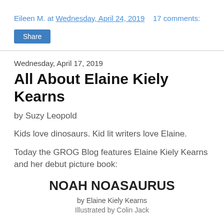Eileen M. at Wednesday, April 24, 2019    17 comments:
Share
Wednesday, April 17, 2019
All About Elaine Kiely Kearns
by Suzy Leopold
Kids love dinosaurs. Kid lit writers love Elaine.
Today the GROG Blog features Elaine Kiely Kearns and her debut picture book:
NOAH NOASAURUS
by Elaine Kiely Kearns
Illustrated by Colin Jack